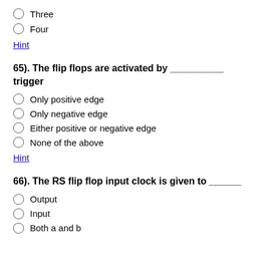Three
Four
Hint
65). The flip flops are activated by __________ trigger
Only positive edge
Only negative edge
Either positive or negative edge
None of the above
Hint
66). The RS flip flop input clock is given to ______
Output
Input
Both a and b